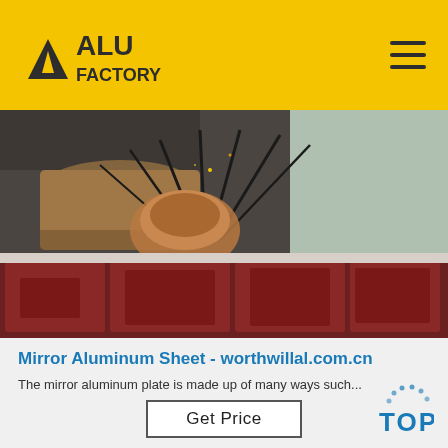ALU FACTORY
[Figure (photo): Industrial facility interior showing metal processing equipment with sparks/copper coils and red machinery cabinets]
Mirror Aluminum Sheet - worthwillal.com.cn
The mirror aluminum plate is made up of many ways such...
Get Price